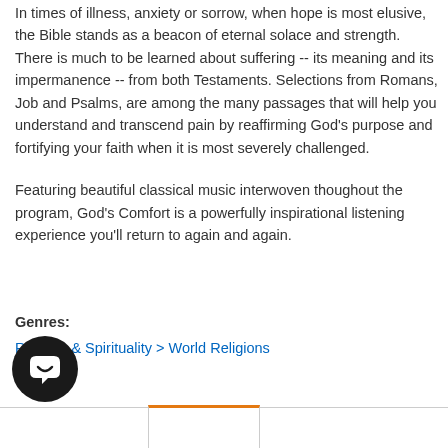In times of illness, anxiety or sorrow, when hope is most elusive, the Bible stands as a beacon of eternal solace and strength. There is much to be learned about suffering -- its meaning and its impermanence -- from both Testaments. Selections from Romans, Job and Psalms, are among the many passages that will help you understand and transcend pain by reaffirming God's purpose and fortifying your faith when it is most severely challenged.
Featuring beautiful classical music interwoven thoughout the program, God's Comfort is a powerfully inspirational listening experience you'll return to again and again.
Genres:
Religion & Spirituality > World Religions
[Figure (other): Chat support button - circular dark button with a speech bubble icon]